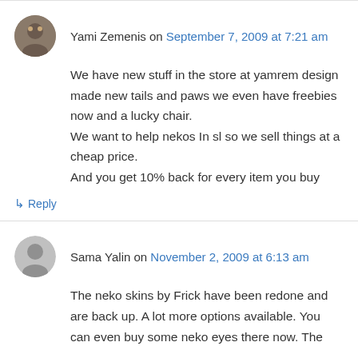Yami Zemenis on September 7, 2009 at 7:21 am
We have new stuff in the store at yamrem design made new tails and paws we even have freebies now and a lucky chair.
We want to help nekos In sl so we sell things at a cheap price.
And you get 10% back for every item you buy
↳ Reply
Sama Yalin on November 2, 2009 at 6:13 am
The neko skins by Frick have been redone and are back up. A lot more options available. You can even buy some neko eyes there now. The